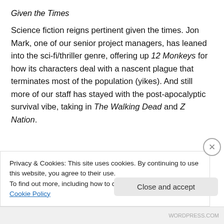Given the Times
Science fiction reigns pertinent given the times. Jon Mark, one of our senior project managers, has leaned into the sci-fi/thriller genre, offering up 12 Monkeys for how its characters deal with a nascent plague that terminates most of the population (yikes). And still more of our staff has stayed with the post-apocalyptic survival vibe, taking in The Walking Dead and Z Nation.
[Figure (other): Dark blue/navy banner image with dotted circle pattern and CROWD logo text in teal/cyan]
Privacy & Cookies: This site uses cookies. By continuing to use this website, you agree to their use.
To find out more, including how to control cookies, see here: Cookie Policy
Close and accept